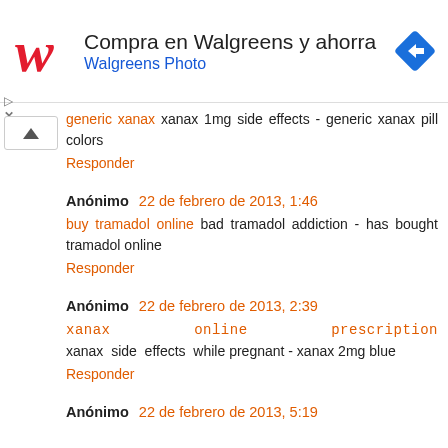[Figure (screenshot): Walgreens advertisement banner with logo, text 'Compra en Walgreens y ahorra' and 'Walgreens Photo', and navigation icon]
generic xanax xanax 1mg side effects - generic xanax pill colors
Responder
Anónimo 22 de febrero de 2013, 1:46
buy tramadol online bad tramadol addiction - has bought tramadol online
Responder
Anónimo 22 de febrero de 2013, 2:39
xanax online prescription xanax side effects while pregnant - xanax 2mg blue
Responder
Anónimo 22 de febrero de 2013, 5:19